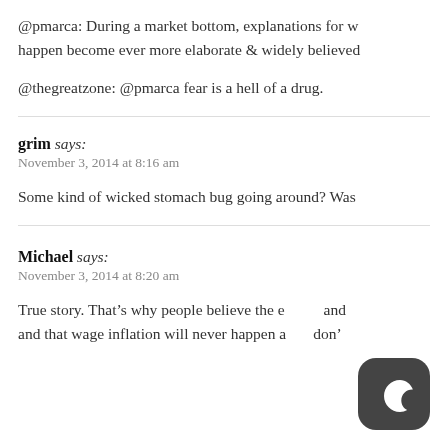@pmarca: During a market bottom, explanations for why things will never happen become ever more elaborate & widely believed.
@thegreatzone: @pmarca fear is a hell of a drug.
grim says: November 3, 2014 at 8:16 am
Some kind of wicked stomach bug going around? Was
Michael says: November 3, 2014 at 8:20 am
True story. That’s why people believe the e and and that wage inflation will never happen a don’t